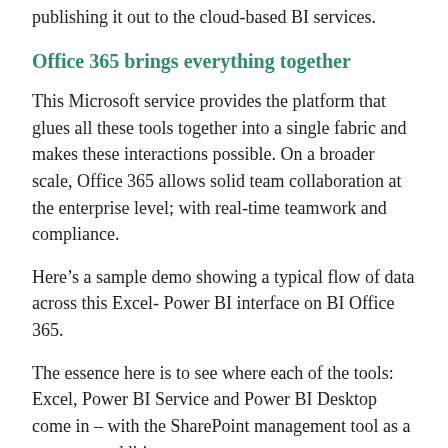publishing it out to the cloud-based BI services.
Office 365 brings everything together
This Microsoft service provides the platform that glues all these tools together into a single fabric and makes these interactions possible. On a broader scale, Office 365 allows solid team collaboration at the enterprise level; with real-time teamwork and compliance.
Here’s a sample demo showing a typical flow of data across this Excel- Power BI interface on BI Office 365.
The essence here is to see where each of the tools: Excel, Power BI Service and Power BI Desktop come in – with the SharePoint management tool as a necessary addition.
So, from the demo, different sales teams are working